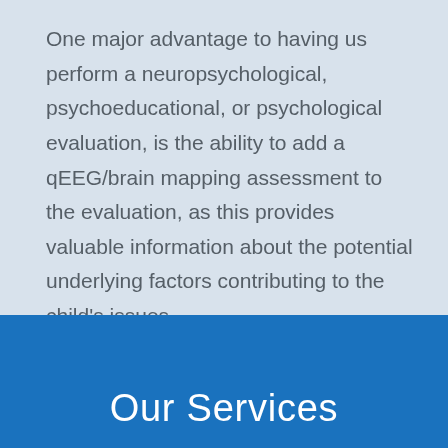One major advantage to having us perform a neuropsychological, psychoeducational, or psychological evaluation, is the ability to add a qEEG/brain mapping assessment to the evaluation, as this provides valuable information about the potential underlying factors contributing to the child's issues.
Our Services